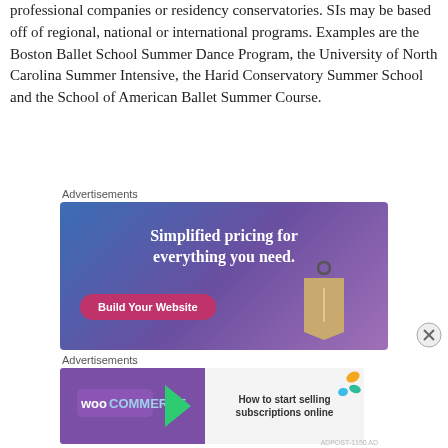professional companies or residency conservatories. SIs may be based off of regional, national or international programs. Examples are the Boston Ballet School Summer Dance Program, the University of North Carolina Summer Intensive, the Harid Conservatory Summer School and the School of American Ballet Summer Course.
Advertisements
[Figure (illustration): Advertisement banner with blue-purple gradient background. Text reads 'Simplified pricing for everything you need.' with a pink 'Build Your Website' button and a price tag illustration on the right.]
Advertisements
[Figure (illustration): WooCommerce advertisement banner with purple left panel showing WooCommerce logo with arrow, and gray right panel with text 'How to start selling subscriptions online' with colorful leaf shapes.]